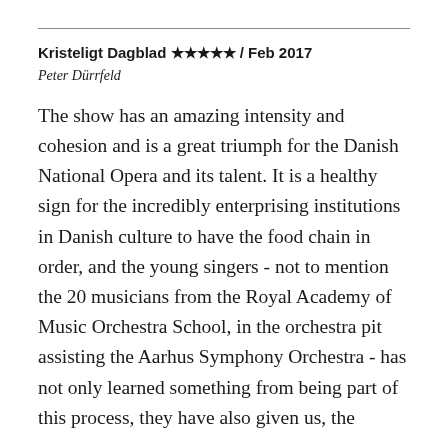Kristeligt Dagblad ★★★★★ / Feb 2017
Peter Dürrfeld
The show has an amazing intensity and cohesion and is a great triumph for the Danish National Opera and its talent. It is a healthy sign for the incredibly enterprising institutions in Danish culture to have the food chain in order, and the young singers - not to mention the 20 musicians from the Royal Academy of Music Orchestra School, in the orchestra pit assisting the Aarhus Symphony Orchestra - has not only learned something from being part of this process, they have also given us, the